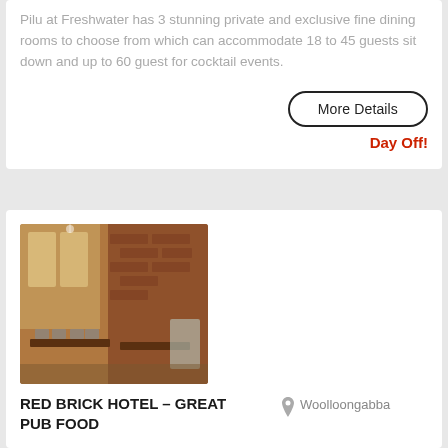Pilu at Freshwater has 3 stunning private and exclusive fine dining rooms to choose from which can accommodate 18 to 45 guests sit down and up to 60 guest for cocktail events.
More Details
Day Off!
[Figure (photo): Interior of Red Brick Hotel showing wooden tables, chairs, brick walls, and large windows with natural light]
RED BRICK HOTEL – GREAT PUB FOOD
Woolloongabba